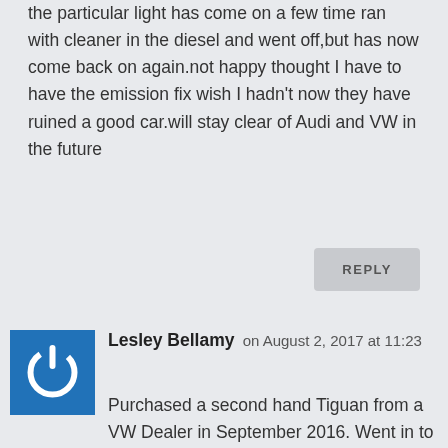the particular light has come on a few time ran with cleaner in the diesel and went off,but has now come back on again.not happy thought I have to have the emission fix wish I hadn't now they have ruined a good car.will stay clear of Audi and VW in the future
REPLY
Lesley Bellamy on August 2, 2017 at 11:23
Purchased a second hand Tiguan from a VW Dealer in September 2016. Went in to